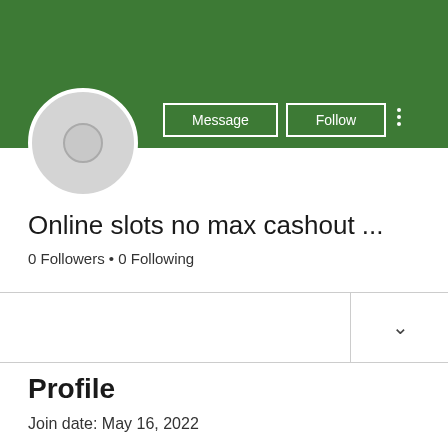[Figure (screenshot): Green banner background for user profile]
[Figure (illustration): Grey circular avatar placeholder with inner circle]
Message
Follow
Online slots no max cashout ...
0 Followers • 0 Following
Profile
Join date: May 16, 2022
About
0 Like Received    0 Comment Received